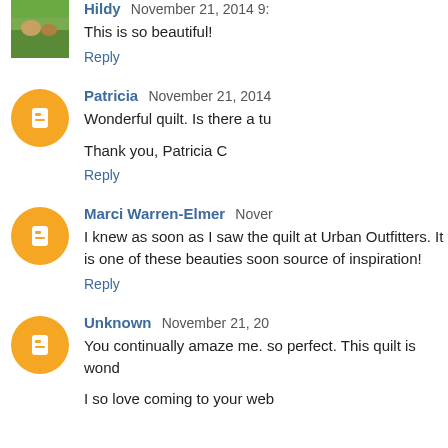Hildy November 21, 2014 9:... This is so beautiful!
Reply
Patricia November 21, 2014... Wonderful quilt. Is there a tu... Thank you, Patricia C
Reply
Marci Warren-Elmer Nover... I knew as soon as I saw the quilt at Urban Outfitters. It is one of these beauties soon source of inspiration!
Reply
Unknown November 21, 20... You continually amaze me. so perfect. This quilt is wond... I so love coming to your web...